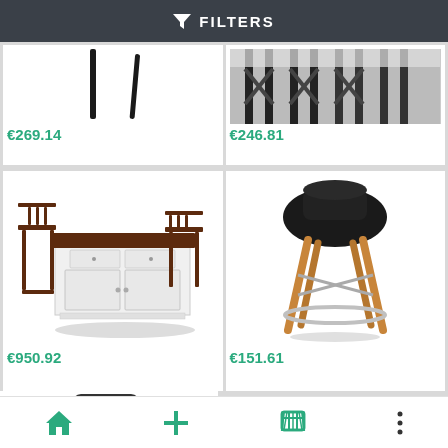FILTERS
[Figure (photo): Partial view of bar stool legs, price €269.14]
€269.14
[Figure (photo): Partial view of bar stools with metal frame and cushions, price €246.81]
€246.81
[Figure (photo): White kitchen island with dark wood top and two dark wood bar chairs, price €950.92]
€950.92
[Figure (photo): Modern black low-back bar stool with wooden Eiffel-style legs and chrome footrest ring, price €151.61]
€151.61
[Figure (photo): Partial view of a metal shelf with dimension label 47,5 cm]
Home | Add | Cart | More